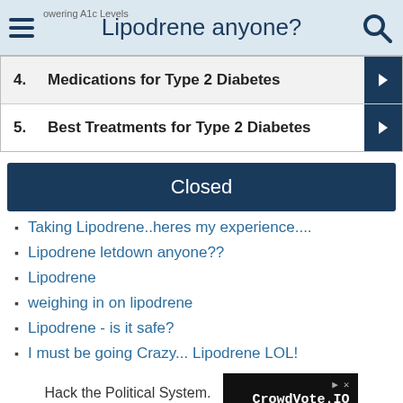Lipodrene anyone?
4. Medications for Type 2 Diabetes
5. Best Treatments for Type 2 Diabetes
Closed
Taking Lipodrene..heres my experience....
Lipodrene letdown anyone??
Lipodrene
weighing in on lipodrene
Lipodrene - is it safe?
I must be going Crazy... Lipodrene LOL!
Hack the Political System. CrowdVote.IO